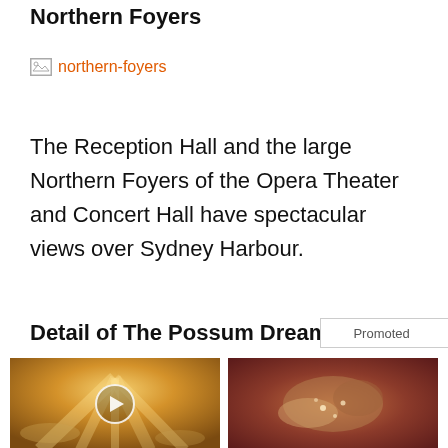Northern Foyers
[Figure (other): Broken image placeholder with alt text 'northern-foyers' shown as orange link text]
The Reception Hall and the large Northern Foyers of the Opera Theater and Concert Hall have spectacular views over Sydney Harbour.
Detail of The Possum Dreaming (1988
[Figure (other): Promoted ad unit with two cards: left card shows sunlight through clouds with play button, right card shows medical/anatomical image. Promoted label with X close button visible. Ad 1: 'Everyone Who Believes In God Should Watch This. It Will Blow Your Mind' with 23,633 engagements. Ad 2: 'What They Didn't Want You Knowing About Metformin' with 208,865 engagements.]